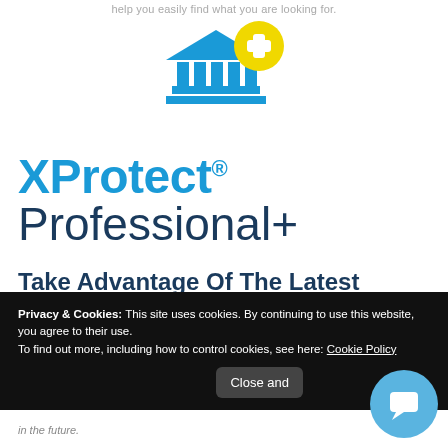help you easily find what you are looking for.
[Figure (logo): XProtect+ logo: a blue building/bank icon with a yellow circle containing a white plus sign]
XProtect®
Professional+
Take Advantage Of The Latest Innovations With Professional+
Privacy & Cookies: This site uses cookies. By continuing to use this website, you agree to their use.
To find out more, including how to control cookies, see here: Cookie Policy
Close and
in the future.